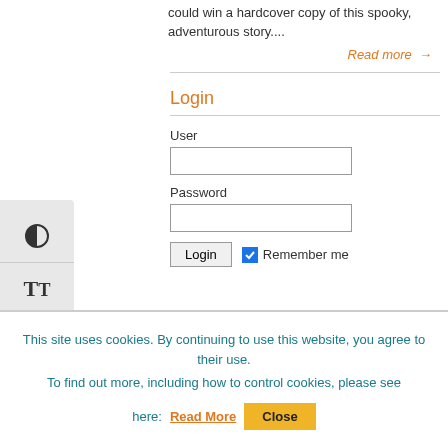could win a hardcover copy of this spooky, adventurous story....
Read more →
Login
User
Password
Login  Remember me
This site uses cookies. By continuing to use this website, you agree to their use. To find out more, including how to control cookies, please see here: Read More  Close